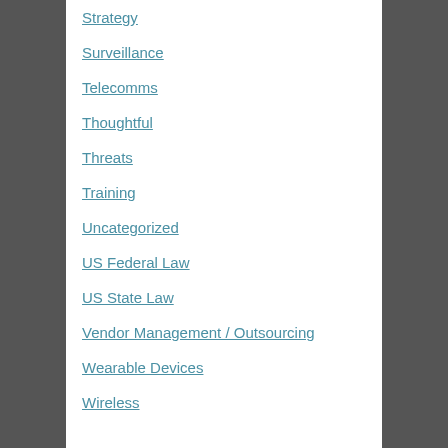Strategy
Surveillance
Telecomms
Thoughtful
Threats
Training
Uncategorized
US Federal Law
US State Law
Vendor Management / Outsourcing
Wearable Devices
Wireless